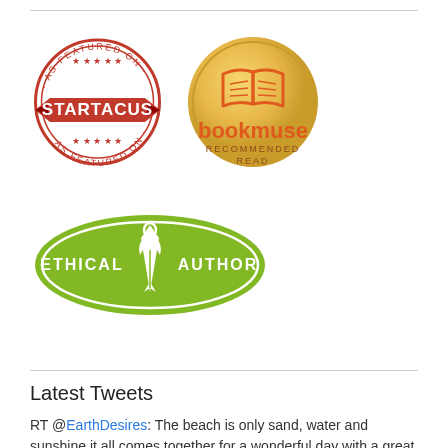[Figure (logo): Startacus 'As Featured On' circular red stamp badge]
[Figure (logo): Bookmuse Recommended Read gold circular badge with open book icon]
[Figure (logo): Ethical Author green oval badge with pen nib icon]
Latest Tweets
RT @EarthDesires: The beach is only sand, water and sunshine it all comes together for a wonderful day with a great book! Start with an,...
12 hours ago